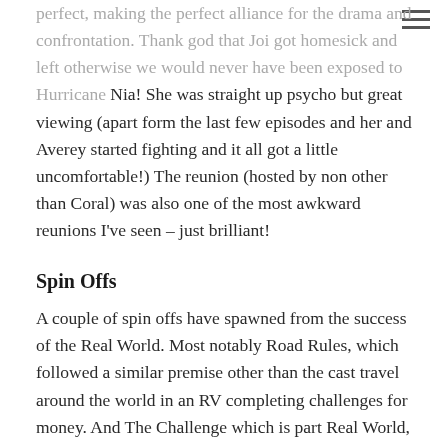perfect, making the perfect alliance for the drama and confrontation. Thank god that Joi got homesick and left otherwise we would never have been exposed to Hurricane Nia! She was straight up psycho but great viewing (apart form the last few episodes and her and Averey started fighting and it all got a little uncomfortable!) The reunion (hosted by non other than Coral) was also one of the most awkward reunions I've seen – just brilliant!
Spin Offs
A couple of spin offs have spawned from the success of the Real World. Most notably Road Rules, which followed a similar premise other than the cast travel around the world in an RV completing challenges for money. And The Challenge which is part Real World, part Ninja Warrior, part I'm a Celebrity Get Me Out of Here. In the beginning it was called the Real World/Road Rules Challenge where by cast members from each show would compete against each other but over the 27 seasons the format has changed and instead of both shows